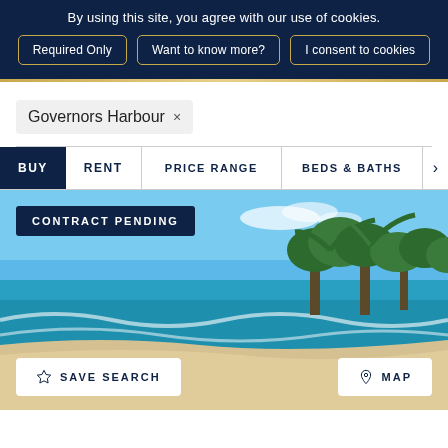By using this site, you agree with our use of cookies.
Required Only
Want to know more?
I consent to cookies
Governors Harbour ×
BUY  RENT  PRICE RANGE  BEDS & BATHS  >
CONTRACT PENDING
[Figure (photo): Beach photo showing turquoise ocean waves, sandy shoreline, and palm trees under a blue sky]
☆ SAVE SEARCH
⊙ MAP